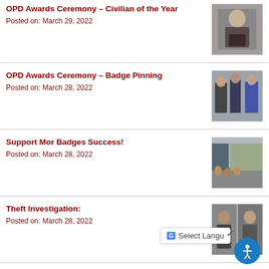OPD Awards Ceremony – Civilian of the Year
Posted on: March 29, 2022
[Figure (photo): Woman holding a framed award plaque]
OPD Awards Ceremony – Badge Pinning
Posted on: March 28, 2022
[Figure (photo): People gathered at a badge pinning ceremony]
Support Mor Badges Success!
Posted on: March 28, 2022
[Figure (photo): Outdoor scene with people and equipment near a City building]
Theft Investigation:
Posted on: March 28, 2022
[Figure (photo): Two individuals in a split-panel photo related to theft investigation]
OPD Awards Ceremony:
Posted on: March 25, 2022
[Figure (photo): People at an OPD awards ceremony]